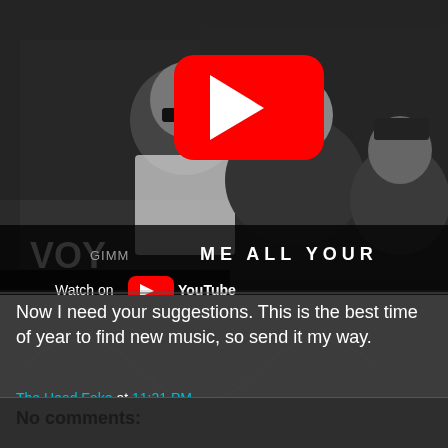[Figure (screenshot): YouTube video thumbnail showing three people (a band) in black and white photo with a YouTube play button overlay. Text at bottom reads 'GIMME ALL YOUR' and 'Watch on YouTube' with VEVO logo visible.]
Now I need your suggestions. This is the best time of year to find new music, so send it my way.
The Head Fake at 11:21 PM
Share
No comments: